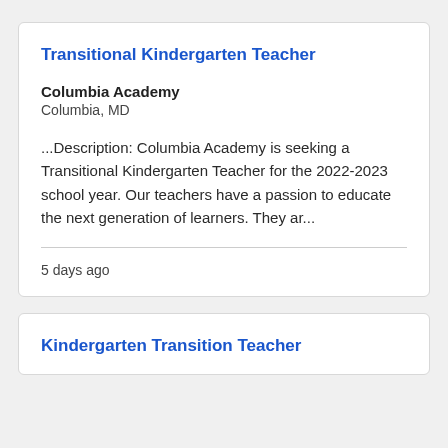Transitional Kindergarten Teacher
Columbia Academy
Columbia, MD
...Description: Columbia Academy is seeking a Transitional Kindergarten Teacher for the 2022-2023 school year. Our teachers have a passion to educate the next generation of learners. They ar...
5 days ago
Kindergarten Transition Teacher